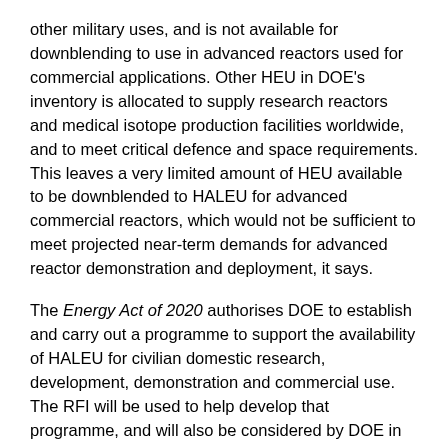other military uses, and is not available for downblending to use in advanced reactors used for commercial applications. Other HEU in DOE's inventory is allocated to supply research reactors and medical isotope production facilities worldwide, and to meet critical defence and space requirements. This leaves a very limited amount of HEU available to be downblended to HALEU for advanced commercial reactors, which would not be sufficient to meet projected near-term demands for advanced reactor demonstration and deployment, it says.
The Energy Act of 2020 authorises DOE to establish and carry out a programme to support the availability of HALEU for civilian domestic research, development, demonstration and commercial use. The RFI will be used to help develop that programme, and will also be considered by DOE in preparing its report to Congress.
US Senator Joe Manchin, chair of the Senate Energy and Natural Resources Committee, welcomed the announcement, saying: "I have long supported the commercialisation of advanced nuclear technologies as a zero-emission source of baseload energy, and I am committed to funding the Advanced Nuclear Fuel programme as authorised in the Energy Act of 2020 to prevent reliance on Russia or other foreign suppliers to